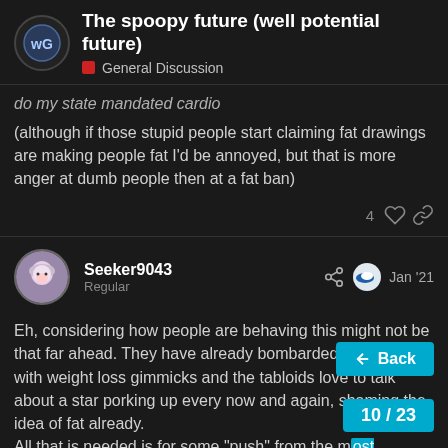The spoopy future (well potential future) — General Discussion
do my state mandated cardio
(although if those stupid people start claiming fat drawings are making people fat I'd be annoyed, but that is more anger at dumb people then at a fat ban)
Seeker9043 Regular Jan '21
Eh, considering how people are behaving this might not be that far ahead. They have already bombarded commercials with weight loss gimmicks and the tabloids love to talk about a star porking up every now and again, shaming the idea of fat already.
All that is needed is for some “push” from the most extreme to garner attention to end obesity by any mea…
anyone can laugh at how it would just only